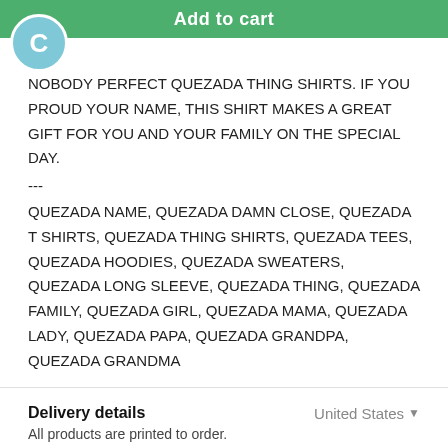Add to cart
[Figure (other): Circular avatar icon with letter C on teal/cyan background]
NOBODY PERFECT QUEZADA THING SHIRTS. IF YOU PROUD YOUR NAME, THIS SHIRT MAKES A GREAT GIFT FOR YOU AND YOUR FAMILY ON THE SPECIAL DAY.
---
QUEZADA NAME, QUEZADA DAMN CLOSE, QUEZADA T SHIRTS, QUEZADA THING SHIRTS, QUEZADA TEES, QUEZADA HOODIES, QUEZADA SWEATERS, QUEZADA LONG SLEEVE, QUEZADA THING, QUEZADA FAMILY, QUEZADA GIRL, QUEZADA MAMA, QUEZADA LADY, QUEZADA PAPA, QUEZADA GRANDPA, QUEZADA GRANDMA
Delivery details
United States
All products are printed to order.